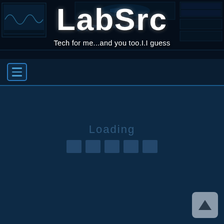[Figure (screenshot): Website header banner with dark tech/sci-fi background showing circuit boards and digital displays]
LabSrc
Tech for me...and you too.I.I guess
[Figure (infographic): Navigation bar with hamburger menu icon (three horizontal lines in a rounded rectangle button)]
Loading
[Figure (infographic): Loading indicator with five rectangular blocks]
[Figure (infographic): Scroll to top button - grey rounded square with upward pointing triangle arrow]